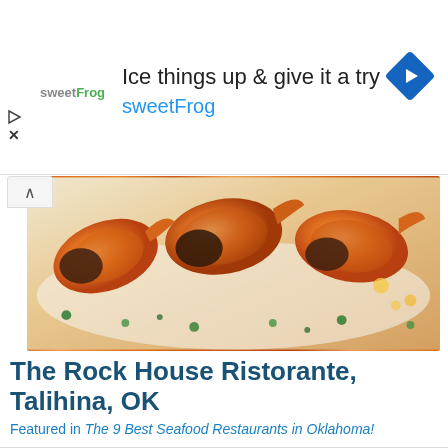[Figure (screenshot): Advertisement banner for sweetFrog frozen yogurt with text 'Ice things up & give it a try' and 'sweetFrog', featuring the sweetFrog logo and a blue navigation diamond icon]
[Figure (photo): Close-up photo of cooked shrimp/prawns arranged on a white plate with green herb garnish]
The Rock House Ristorante, Talihina, OK
Featured in The 9 Best Seafood Restaurants in Oklahoma!
The Maryland Crab Cakes are made with 100 percent crab, no filler. There aren't many seafood dishes on the menu, but the ones that are there are always delicious.
Read More